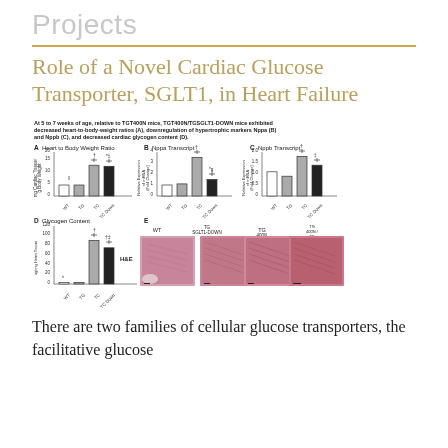Projects
Role of a Novel Cardiac Glucose Transporter, SGLT1, in Heart Failure
[Figure (bar-chart): Multi-panel figure with bar charts (A: Heart to Body Weight Ratio, B: Nppa Transcript, C: Nppb Transcript, D: Glycogen Content) and histology images (E: H&E stained sections from WT, TG-SGLT1-DOWN, TG-400N, TG-400N/TG-SGLT1-DOWN mice).]
There are two families of cellular glucose transporters, the facilitative glucose